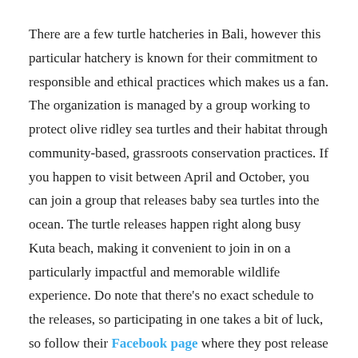There are a few turtle hatcheries in Bali, however this particular hatchery is known for their commitment to responsible and ethical practices which makes us a fan. The organization is managed by a group working to protect olive ridley sea turtles and their habitat through community-based, grassroots conservation practices. If you happen to visit between April and October, you can join a group that releases baby sea turtles into the ocean. The turtle releases happen right along busy Kuta beach, making it convenient to join in on a particularly impactful and memorable wildlife experience. Do note that there's no exact schedule to the releases, so participating in one takes a bit of luck, so follow their Facebook page where they post release dates and times as soon as the information is available.
For more ideas about ethical wildlife experiences in Asia, visit this post.